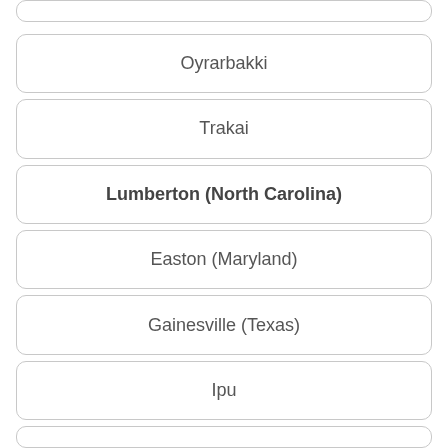Oyrarbakki
Trakai
Lumberton (North Carolina)
Easton (Maryland)
Gainesville (Texas)
Ipu